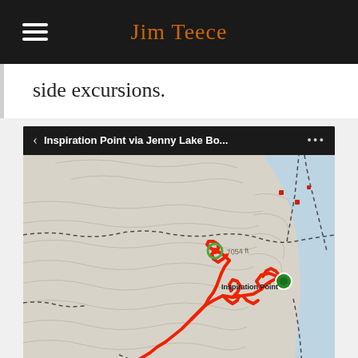Jim Teece
side excursions.
[Figure (screenshot): A hiking trail map screenshot showing 'Inspiration Point via Jenny Lake Bo...' route with a red GPS track overlaid on a topographic map. The track shows a winding route past Hidden Falls and Inspiration Point labels, with green circle markers at key points. A compass rose is visible in the lower right corner. The map shows elevation contours, water bodies in light blue, and dashed trail lines.]